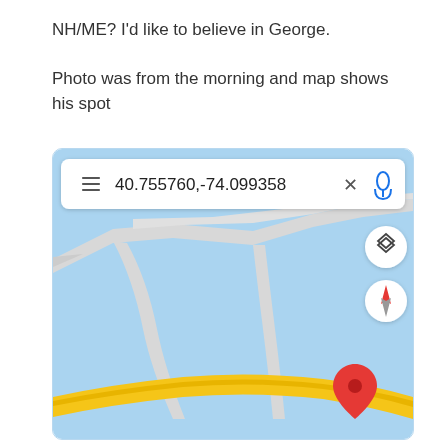NH/ME? I'd like to believe in George.

Photo was from the morning and map shows his spot
[Figure (map): Google Maps screenshot showing location at coordinates 40.755760, -74.099358. The map shows a light blue water/terrain area with gray roads/bridges crossing over it and a yellow road at the bottom. A red map pin marker is visible in the lower right area of the map. There is a search bar at the top showing the coordinates, a layer switcher button, and a compass button on the right side.]